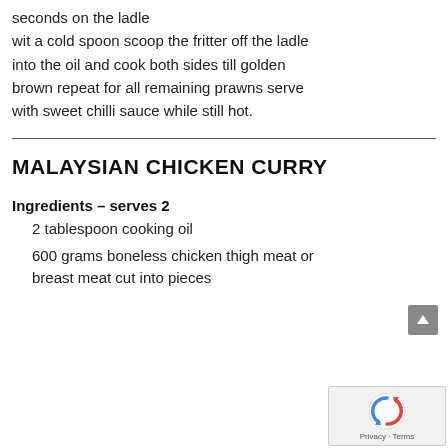seconds on the ladle wit a cold spoon scoop the fritter off the ladle into the oil and cook both sides till golden brown repeat for all remaining prawns serve with sweet chilli sauce while still hot.
MALAYSIAN CHICKEN CURRY
Ingredients – serves 2
2 tablespoon cooking oil
600 grams boneless chicken thigh meat or breast meat cut into pieces